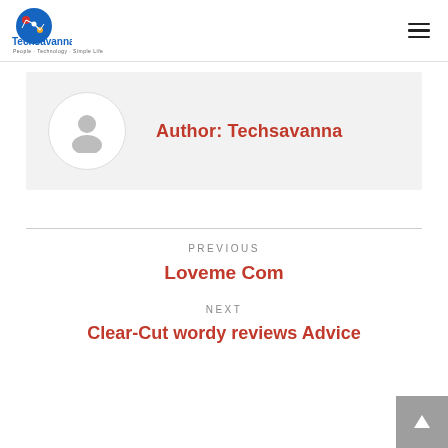Techsavanna - People · Technology · Simple Life
Author: Techsavanna
[Figure (illustration): Default user avatar icon inside a circular border on a light grey background]
PREVIOUS
Loveme Com
NEXT
Clear-Cut wordy reviews Advice